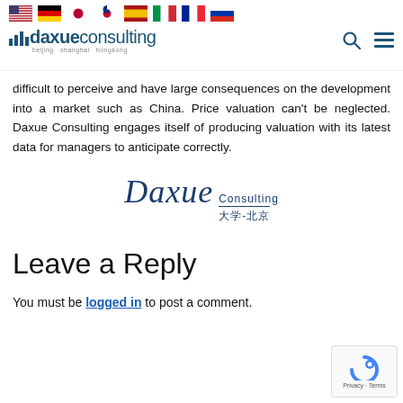Daxue Consulting — navigation header with flags and logo
difficult to perceive and have large consequences on the development into a market such as China. Price valuation can't be neglected. Daxue Consulting engages itself of producing valuation with its latest data for managers to anticipate correctly.
[Figure (logo): Daxue Consulting logo — large italic serif text 'Daxue' with 'Consulting' and Chinese characters '大学-北京']
Leave a Reply
You must be logged in to post a comment.